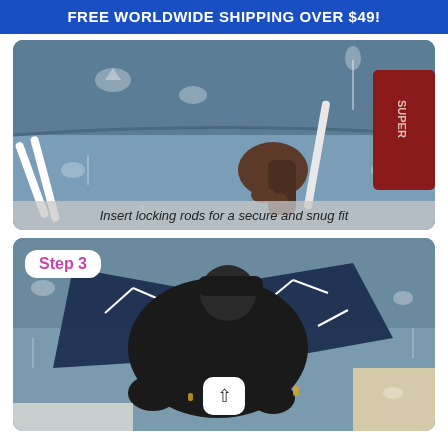FREE WORLDWIDE SHIPPING OVER $49!
[Figure (photo): A person inserting white locking rods into a grey patterned sofa cover. The sofa fabric has white decorative animal/tree prints on a dark grey background. Person wearing a dark red/maroon Superdry hoodie.]
Insert locking rods for a secure and snug fit
[Figure (photo): Step 3: A person wearing a black t-shirt and cap kneeling and working on attaching or adjusting a grey sofa cover with dark navy/blue cushion panels tied with white cords. A white up-arrow button is visible at the bottom center.]